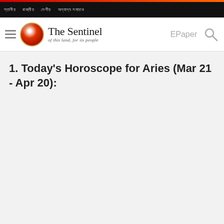The Sentinel — of this land, for its people
1. Today's Horoscope for Aries (Mar 21 - Apr 20):